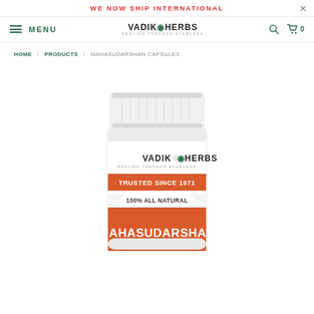WE NOW SHIP INTERNATIONAL
MENU | VADIKO HERBS HEALING THROUGH AYURVEDA | Search | Cart 0
HOME / PRODUCTS / MAHASUDARSHAN CAPSULES
[Figure (photo): Vadiko Herbs supplement bottle with white cap, orange label reading: VADIKO HERBS HEALING THROUGH AYURVEDA, TRUSTED SINCE 1971, 100% ALL NATURAL, MAHASUDARSHAN]